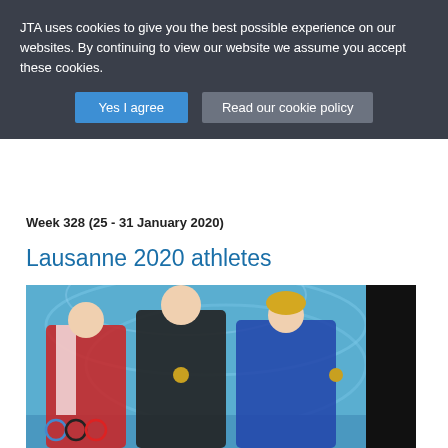JTA uses cookies to give you the best possible experience on our websites. By continuing to view our website we assume you accept these cookies.
Yes I agree
Read our cookie policy
Week 328 (25 - 31 January 2020)
Lausanne 2020 athletes
[Figure (photo): Three young female athletes on a podium holding up their medals at the Lausanne 2020 Winter Youth Olympic Games. The athlete on the left wears a red and white jacket, the one in the center wears a black jacket, and the one on the right wears a blue jacket and yellow beanie hat. A blue Olympic backdrop is visible behind them.]